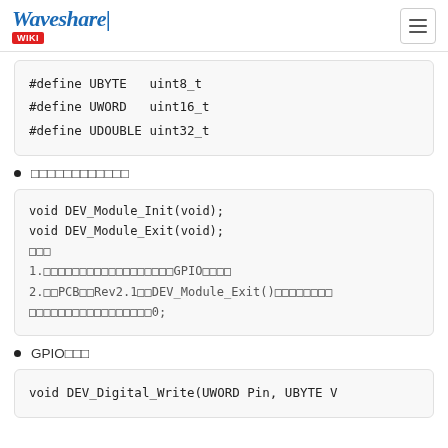Waveshare WIKI
□□□□□□□□□□□□
GPIO□□□